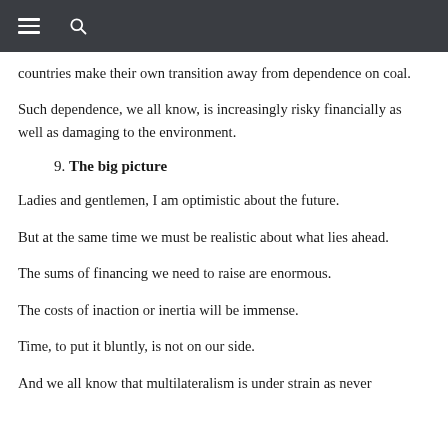Navigation bar with hamburger menu and search icon
countries make their own transition away from dependence on coal.
Such dependence, we all know, is increasingly risky financially as well as damaging to the environment.
9. The big picture
Ladies and gentlemen, I am optimistic about the future.
But at the same time we must be realistic about what lies ahead.
The sums of financing we need to raise are enormous.
The costs of inaction or inertia will be immense.
Time, to put it bluntly, is not on our side.
And we all know that multilateralism is under strain as never